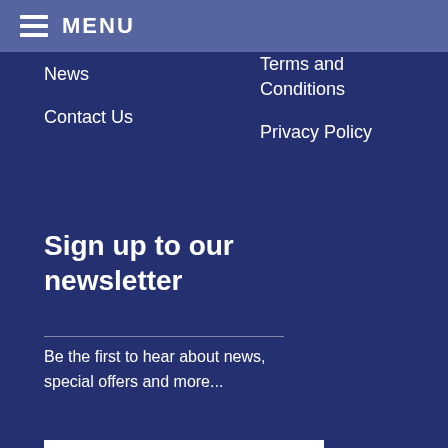MENU
News
Contact Us
Terms and Conditions
Privacy Policy
Sign up to our newsletter
Be the first to hear about news, special offers and more...
Your email address...